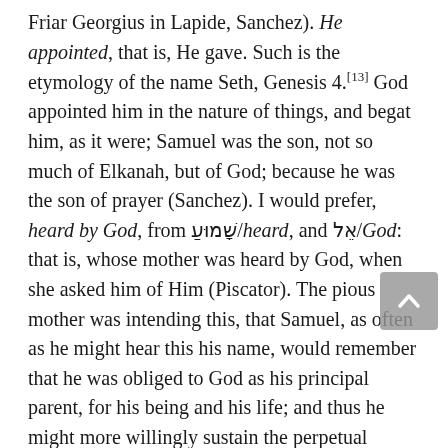Friar Georgius in Lapide, Sanchez). He appointed, that is, He gave. Such is the etymology of the name Seth, Genesis 4.[13] God appointed him in the nature of things, and begat him, as it were; Samuel was the son, not so much of Elkanah, but of God; because he was the son of prayer (Sanchez). I would prefer, heard by God, from שָׁמוּעַ/heard, and אֵל/God: that is, whose mother was heard by God, when she asked him of Him (Piscator). The pious mother was intending this, that Samuel, as often as he might hear this his name, would remember that he was obliged to God as his principal parent, for his being and his life; and thus he might more willingly sustain the perpetual annoyances of the Nazarite state (Tirinus out of Sanchez). The lad was advised of his duty by his name. It is to be